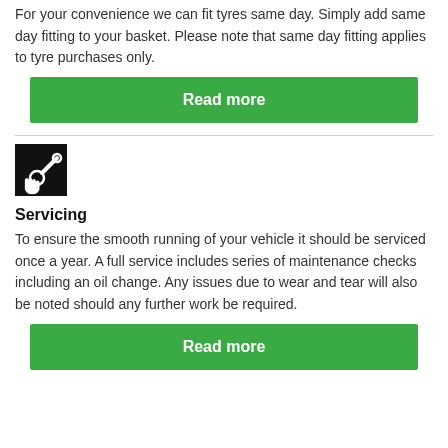For your convenience we can fit tyres same day. Simply add same day fitting to your basket. Please note that same day fitting applies to tyre purchases only.
Read more
[Figure (illustration): Black square icon with white wrench and hand tools symbol]
Servicing
To ensure the smooth running of your vehicle it should be serviced once a year. A full service includes series of maintenance checks including an oil change. Any issues due to wear and tear will also be noted should any further work be required.
Read more